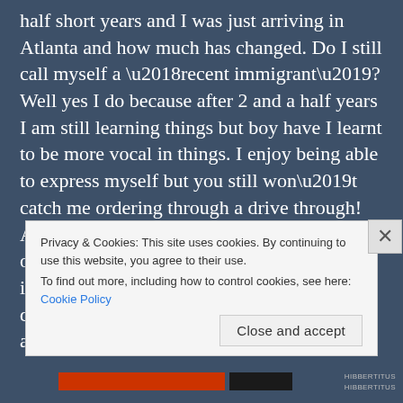half short years and I was just arriving in Atlanta and how much has changed. Do I still call myself a ‘recent immigrant’? Well yes I do because after 2 and a half years I am still learning things but boy have I learnt to be more vocal in things. I enjoy being able to express myself but you still won’t catch me ordering through a drive through! Actually ordering in restaurants is still the one thing that is still difficult and it normally involves pointing to what I want or Leanne doing a quick translation. It’s the accent not the language!
But I can also look back with some real stories t...
Privacy & Cookies: This site uses cookies. By continuing to use this website, you agree to their use.
To find out more, including how to control cookies, see here: Cookie Policy
Close and accept